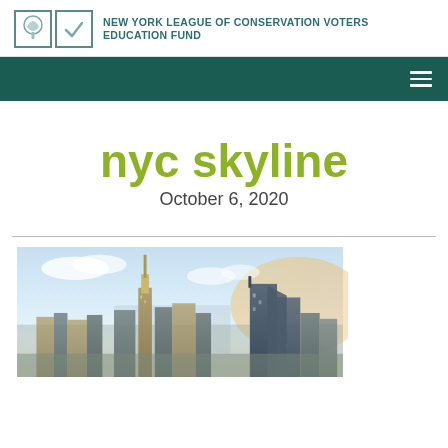NEW YORK LEAGUE OF CONSERVATION VOTERS EDUCATION FUND
nyc skyline
October 6, 2020
[Figure (photo): Aerial photograph of the New York City skyline showing the Empire State Building and surrounding skyscrapers under a partly cloudy sky]